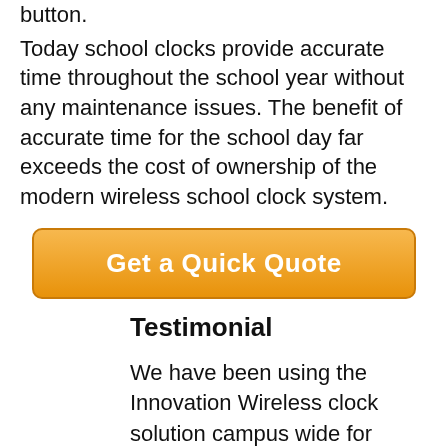button. Today school clocks provide accurate time throughout the school year without any maintenance issues. The benefit of accurate time for the school day far exceeds the cost of ownership of the modern wireless school clock system.
[Figure (other): Orange rounded button with white bold text reading 'Get a Quick Quote']
Testimonial
We have been using the Innovation Wireless clock solution campus wide for some time and their project is very reliable and a great solution when you have a large campus